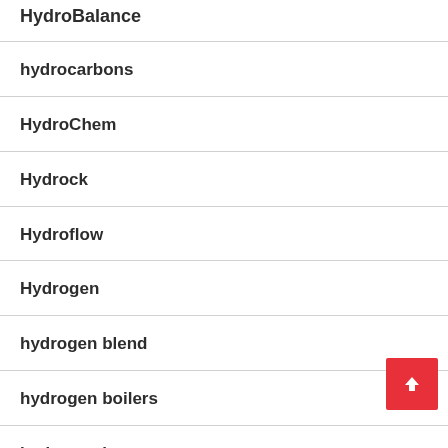HydroBalance
hydrocarbons
HydroChem
Hydrock
Hydroflow
Hydrogen
hydrogen blend
hydrogen boilers
hydrogen heat